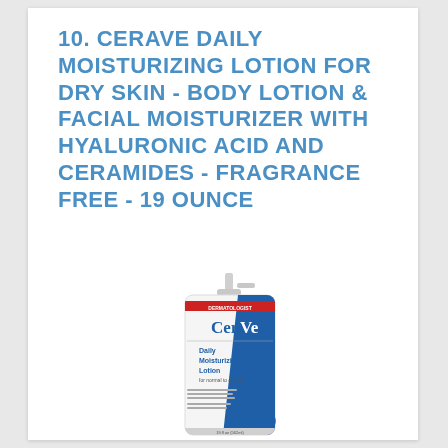10. CERAVE DAILY MOISTURIZING LOTION FOR DRY SKIN - BODY LOTION & FACIAL MOISTURIZER WITH HYALURONIC ACID AND CERAMIDES - FRAGRANCE FREE - 19 OUNCE
[Figure (photo): CeraVe Daily Moisturizing Lotion 19 oz pump bottle with white and blue label and blue pump top]